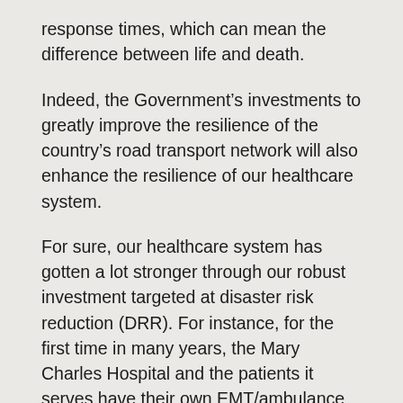response times, which can mean the difference between life and death.
Indeed, the Government's investments to greatly improve the resilience of the country's road transport network will also enhance the resilience of our healthcare system.
For sure, our healthcare system has gotten a lot stronger through our robust investment targeted at disaster risk reduction (DRR). For instance, for the first time in many years, the Mary Charles Hospital and the patients it serves have their own EMT/ambulance service. With the addition of this 24-hour dispatch point, the Government has brought an ambulance closer to the people of the Keys to Saddlers Medical District, meaning that medical assistance is no longer dangerously distant. The Ministry of Health is also